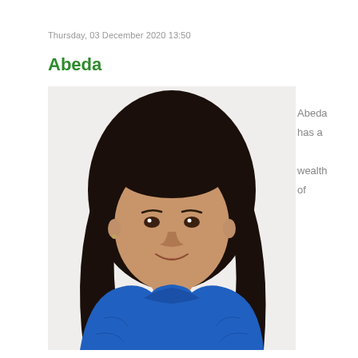Thursday, 03 December 2020 13:50
Abeda
[Figure (photo): Portrait photo of a woman named Abeda wearing a blue fleece jacket, with long dark hair, smiling, against a white background.]
Abeda has a wealth of